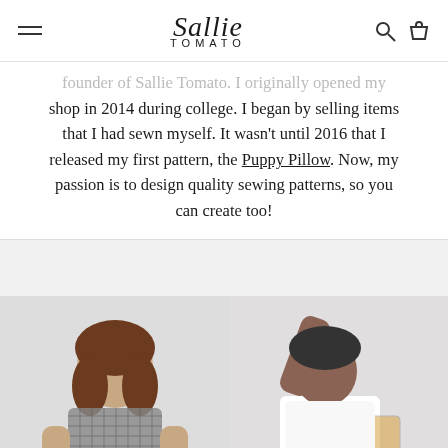Sallie Tomato
founder of Sallie Tomato. I originally opened my shop in 2014 during college. I began by selling items that I had sewn myself. It wasn't until 2016 that I released my first pattern, the Puppy Pillow. Now, my passion is to design quality sewing patterns, so you can create too!
[Figure (photo): Two photos side by side: left photo shows a woman in a gingham top holding a bag; right photo partially visible showing another person holding a bag. A red 'Chat with us' button overlays the right photo.]